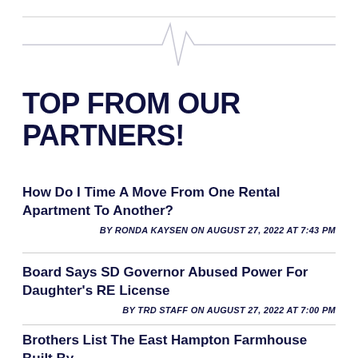[Figure (other): Decorative heartbeat/pulse line graphic in light gray serving as a page header divider]
TOP FROM OUR PARTNERS!
How Do I Time A Move From One Rental Apartment To Another?
BY RONDA KAYSEN ON AUGUST 27, 2022 AT 7:43 PM
Board Says SD Governor Abused Power For Daughter's RE License
BY TRD STAFF ON AUGUST 27, 2022 AT 7:00 PM
Brothers List The East Hampton Farmhouse Built By